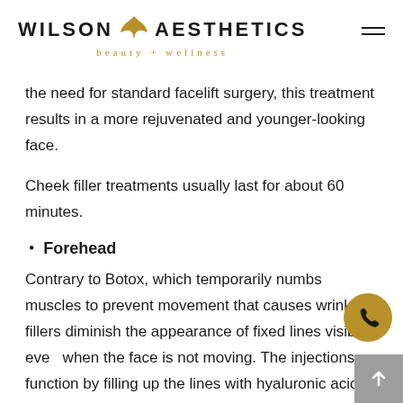WILSON AESTHETICS beauty + wellness
the need for standard facelift surgery, this treatment results in a more rejuvenated and younger-looking face.
Cheek filler treatments usually last for about 60 minutes.
Forehead
Contrary to Botox, which temporarily numbs muscles to prevent movement that causes wrinkles, fillers diminish the appearance of fixed lines visible even when the face is not moving. The injections function by filling up the lines with hyaluronic acid, which is already present in the skin.